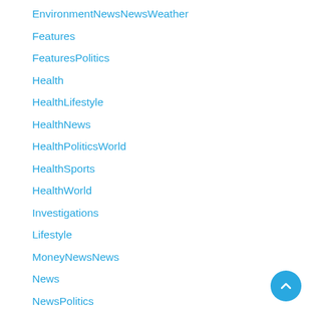EnvironmentNewsNewsWeather
Features
FeaturesPolitics
Health
HealthLifestyle
HealthNews
HealthPoliticsWorld
HealthSports
HealthWorld
Investigations
Lifestyle
MoneyNewsNews
News
NewsPolitics
NewsSports
NewsTraffic
NewsWorld
Politics
PoliticsWorld